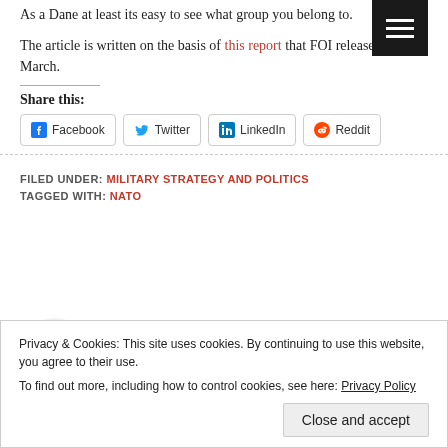As a Dane at least its easy to see what group you belong to.
The article is written on the basis of this report that FOI released in March.
Share this:
Facebook
Twitter
LinkedIn
Reddit
FILED UNDER: MILITARY STRATEGY AND POLITICS
TAGGED WITH: NATO
Privacy & Cookies: This site uses cookies. By continuing to use this website, you agree to their use. To find out more, including how to control cookies, see here: Privacy Policy
Close and accept